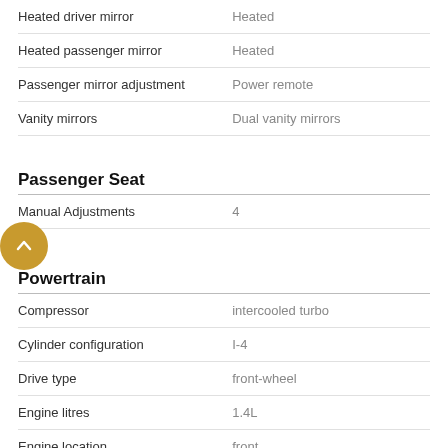| Feature | Value |
| --- | --- |
| Heated driver mirror | Heated |
| Heated passenger mirror | Heated |
| Passenger mirror adjustment | Power remote |
| Vanity mirrors | Dual vanity mirrors |
Passenger Seat
| Feature | Value |
| --- | --- |
| Manual Adjustments | 4 |
Powertrain
| Feature | Value |
| --- | --- |
| Compressor | intercooled turbo |
| Cylinder configuration | I-4 |
| Drive type | front-wheel |
| Engine litres | 1.4L |
| Engine location | front |
| Fuel economy city | 9.1L/100 km |
| Fuel economy combined | 8.4L/100 km |
| Fuel economy fuel type | gasoline |
| Fuel economy highway | 7.6L/100 km |